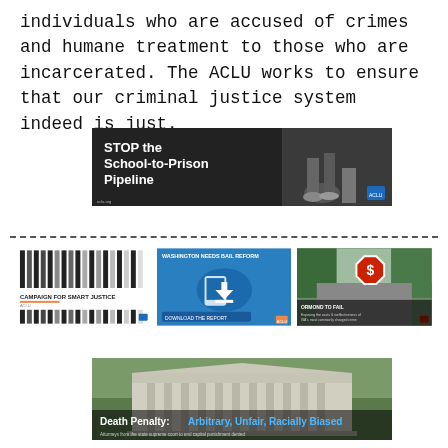individuals who are accused of crimes and humane treatment to those who are incarcerated. The ACLU works to ensure that our criminal justice system indeed is just.
[Figure (illustration): Dark banner with text 'STOP the School-to-Prison Pipeline' over a background image of feet/legs walking, with ACLU logo in bottom right corner.]
[Figure (illustration): Three thumbnail images side by side: (1) Campaign for Smart Justice with vertical bars pattern, (2) Washington Needs Bail Reform with hands and download icon, (3) Ormond to Fail - Exposing the cost and ineffectiveness of WA's most commonly charged crime, with a red stop sign with dollar symbol.]
[Figure (illustration): Wide banner showing a courthouse building with columns. Text overlay: 'Death Penalty: Arbitrary, Unfair, Racially Biased' with smaller subtitle text below.]